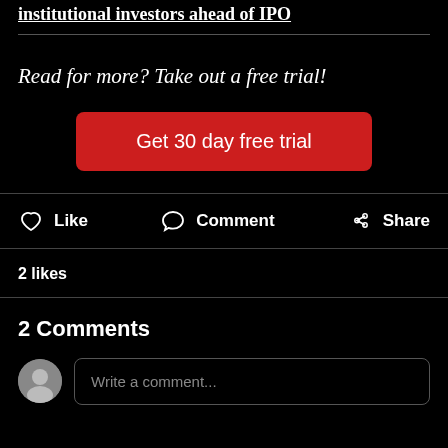institutional investors ahead of IPO
Read for more? Take out a free trial!
Get 30 day free trial
Like
Comment
Share
2 likes
2 Comments
Write a comment...